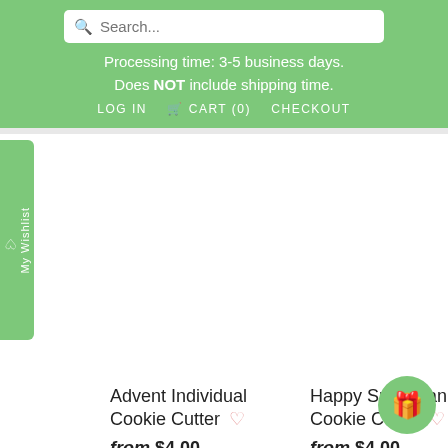Search... | Processing time: 3-5 business days. Does NOT include shipping time. | LOG IN  CART (0)  CHECKOUT
Advent Individual Cookie Cutter
from $4.00
Happy Snowman Cookie Cutter
from $4.00